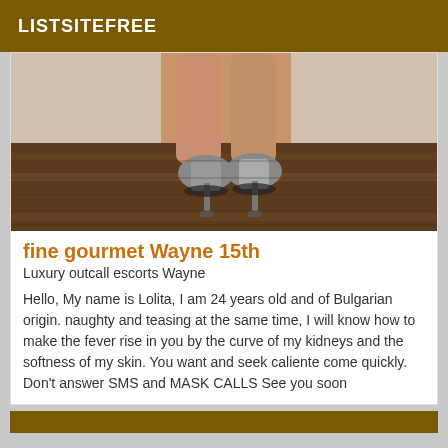LISTSITEFREE
[Figure (photo): Photo of person's legs and silver high-heel shoes on wooden floor, viewed from behind]
fine gourmet Wayne 15th
Luxury outcall escorts Wayne
Hello, My name is Lolita, I am 24 years old and of Bulgarian origin. naughty and teasing at the same time, I will know how to make the fever rise in you by the curve of my kidneys and the softness of my skin. You want and seek caliente come quickly. Don't answer SMS and MASK CALLS See you soon